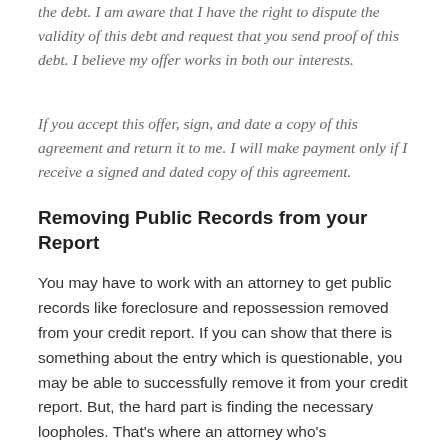the debt. I am aware that I have the right to dispute the validity of this debt and request that you send proof of this debt. I believe my offer works in both our interests.
If you accept this offer, sign, and date a copy of this agreement and return it to me. I will make payment only if I receive a signed and dated copy of this agreement.
Removing Public Records from your Report
You may have to work with an attorney to get public records like foreclosure and repossession removed from your credit report. If you can show that there is something about the entry which is questionable, you may be able to successfully remove it from your credit report. But, the hard part is finding the necessary loopholes. That's where an attorney who's knowledgeable about your state's laws comes in.